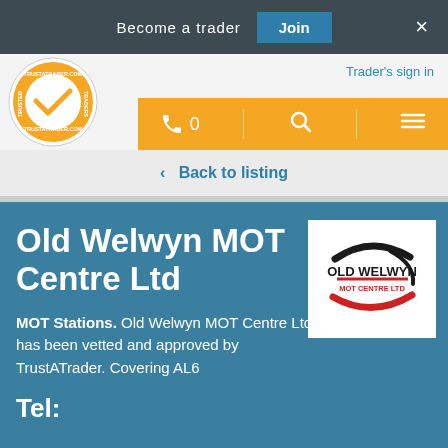Become a trader  Join  ×
[Figure (logo): TrustATrader circular logo with checkmark and text TRUSTED TRADERS / TRUSTATRADER.COM]
Trader's sign in
☎ 0  🔍  ≡
< Back to listing
Old Welwyn MOT Centre Ltd
[Figure (logo): Old Welwyn MOT Centre Ltd company logo with swoosh design in black and red]
MOT Stations. Old Welwyn MOT Centre Ltd has been vetted and approved by TrustATrader. Covering AL6
Tel: